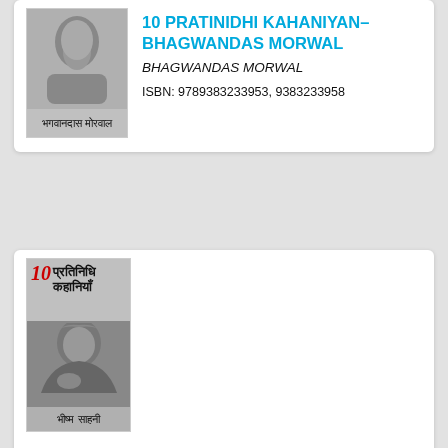[Figure (photo): Book cover of 10 Pratinidhi Kahaniyan by Bhagwandas Morwal showing a person's face with Hindi text at bottom reading 'भगवानदास मोरवाल']
10 PRATINIDHI KAHANIYAN-BHAGWANDAS MORWAL
BHAGWANDAS MORWAL
ISBN: 9789383233953, 9383233958
[Figure (photo): Book cover showing '10 प्रतिनिधि कहानियाँ' in Hindi with an elderly man's black and white photo and 'भीष्म साहनी' text at bottom]